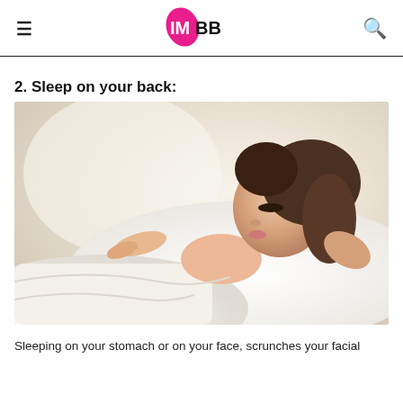IMBB
2. Sleep on your back:
[Figure (photo): A young woman sleeping peacefully on her back on a white pillow, covered with white sheets, in a soft blurred background]
Sleeping on your stomach or on your face, scrunches your facial